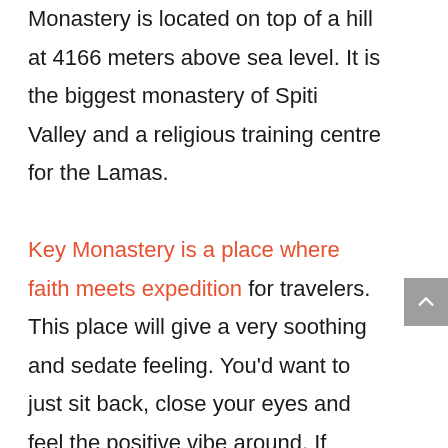Monastery is located on top of a hill at 4166 meters above sea level. It is the biggest monastery of Spiti Valley and a religious training centre for the Lamas. Key Monastery is a place where faith meets expedition for travelers. This place will give a very soothing and sedate feeling. You'd want to just sit back, close your eyes and feel the positive vibe around. If